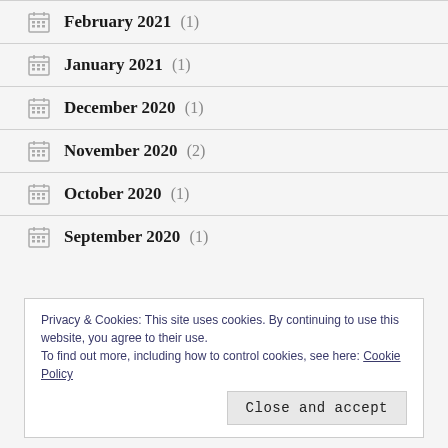February 2021 (1)
January 2021 (1)
December 2020 (1)
November 2020 (2)
October 2020 (1)
September 2020 (1)
Privacy & Cookies: This site uses cookies. By continuing to use this website, you agree to their use. To find out more, including how to control cookies, see here: Cookie Policy